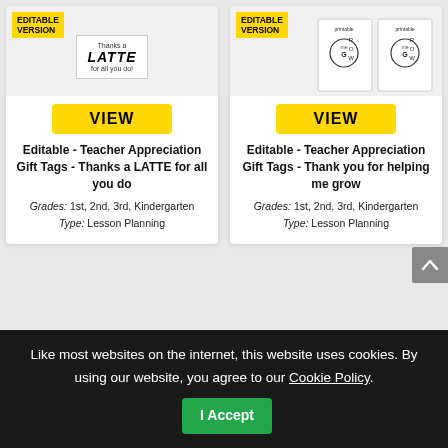[Figure (screenshot): Product card image for Editable Teacher Appreciation Gift Tags - Thanks a LATTE, showing a tag with 'Thanks a LATTE for all you do!' text and an EDITABLE VERSION badge]
[Figure (screenshot): Product card image for Editable Teacher Appreciation Gift Tags - Thank you for helping me grow, showing sunflower grow-themed tags with EDITABLE VERSION badge]
VIEW
VIEW
Editable - Teacher Appreciation Gift Tags - Thanks a LATTE for all you do
Editable - Teacher Appreciation Gift Tags - Thank you for helping me grow
Grades: 1st, 2nd, 3rd, Kindergarten
Type: Lesson Planning
Grades: 1st, 2nd, 3rd, Kindergarten
Type: Lesson Planning
Like most websites on the internet, this website uses cookies. By using our website, you agree to our Cookie Policy.
I Accept